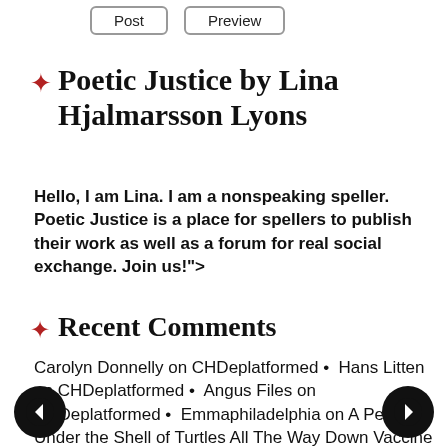Post   Preview
Poetic Justice by Lina Hjalmarsson Lyons
Hello, I am Lina. I am a nonspeaking speller. Poetic Justice is a place for spellers to publish their work as well as a forum for real social exchange. Join us!">
Recent Comments
Carolyn Donnelly on CHDeplatformed • Hans Litten on CHDeplatformed • Angus Files on CHDeplatformed • Emmaphiladelphia on A Peek Under the Shell of Turtles All The Way Down Vaccine Science and Myth • Emmaphiladelphia on A Peek Under the Shell of Turtles All The Way